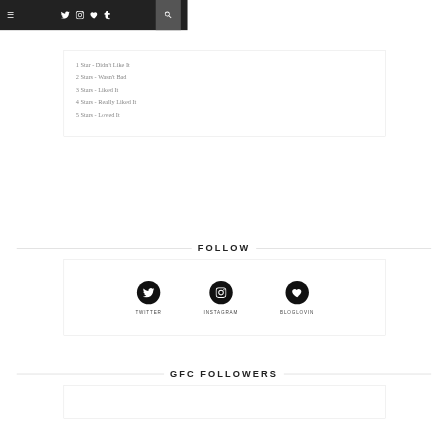Navigation bar with hamburger menu, social icons (Twitter, Instagram, heart/Bloglovin, Tumblr), and search icon
1 Star - Didn't Like It
2 Stars - Wasn't Bad
3 Stars - Liked It
4 Stars - Really Liked It
5 Stars - Loved It
FOLLOW
[Figure (infographic): Three social media follow buttons: Twitter (bird icon), Instagram (camera icon), Bloglovin (heart icon), each in a black circle with label below]
GFC FOLLOWERS